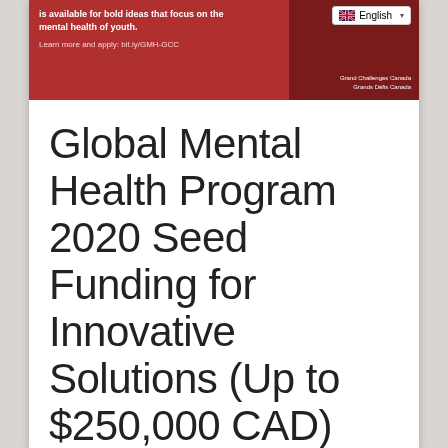[Figure (photo): Red banner advertisement for Grand Challenges Canada Global Mental Health program, with text about bold ideas for mental health of youth, and a Learn more link at bit.ly/GMH-GCC]
Global Mental Health Program 2020 Seed Funding for Innovative Solutions (Up to $250,000 CAD)
Posted by Opportunity Desk On June 04, 2020 0 Comment
70 [Facebook share button] [Twitter share button]